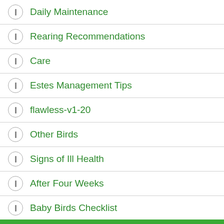Daily Maintenance
Rearing Recommendations
Care
Estes Management Tips
flawless-v1-20
Other Birds
Signs of Ill Health
After Four Weeks
Baby Birds Checklist